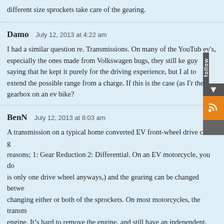different size sprockets take care of the gearing.
Damo   July 12, 2013 at 4:22 am
I had a similar question re. Transmissions. On many of the YouTube ev's, especially the ones made from Volkswagen bugs, they still ke… guy saying that he kept it purely for the driving experience, but I al… to extend the possible range from a charge. If this is the case (as I'r… the gearbox on an ev bike?
BenN   July 12, 2013 at 8:03 am
A transmission on a typical home converted EV front-wheel drive car is g… reasons; 1: Gear Reduction 2: Differential. On an EV motorcycle, you do… is only one drive wheel anyways,) and the gearing can be changed betwe… changing either or both of the sprockets. On most motorcycles, the transm… engine. It's hard to remove the engine, and still have an independent, wo… transmission takes up valuable space that could be used for batteries. Having a transmission will NOT extend the range of the EV. Transmissio… speeds at particular RPM band.